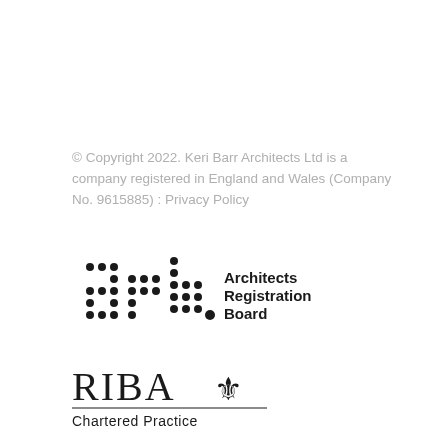© Copyright 2022. Keri Barr Architects Ltd is a company registered in England and Wales (Company No. 9615885) : Privacy Policy
[Figure (logo): ARB Architects Registration Board logo — stylized dotted letters 'arb' followed by text 'Architects Registration Board']
[Figure (logo): RIBA Chartered Practice logo — 'RIBA' text with crown emblem, horizontal rule, and 'Chartered Practice' beneath]